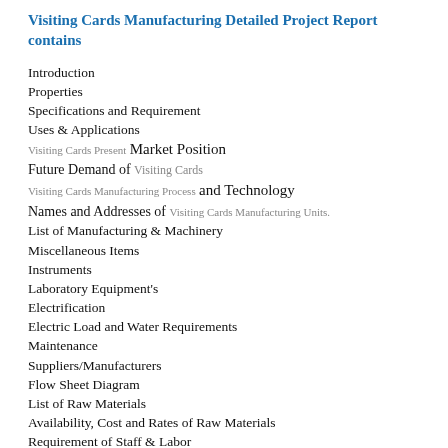Visiting Cards Manufacturing Detailed Project Report contains
Introduction
Properties
Specifications and Requirement
Uses & Applications
Visiting Cards Present Market Position
Future Demand of Visiting Cards
Visiting Cards Manufacturing Process and Technology
Names and Addresses of Visiting Cards Manufacturing Units.
List of Manufacturing & Machinery
Miscellaneous Items
Instruments
Laboratory Equipment's
Electrification
Electric Load and Water Requirements
Maintenance
Suppliers/Manufacturers
Flow Sheet Diagram
List of Raw Materials
Availability, Cost and Rates of Raw Materials
Requirement of Staff & Labor
Personnel Management